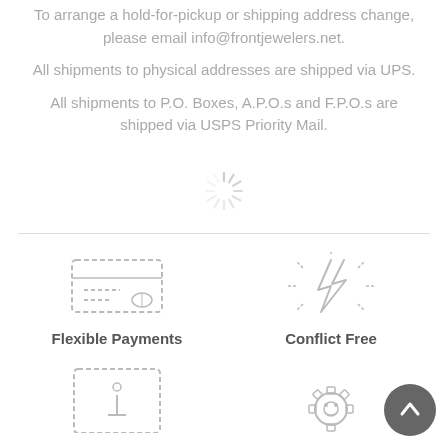To arrange a hold-for-pickup or shipping address change, please email info@frontjewelers.net.
All shipments to physical addresses are shipped via UPS.
All shipments to P.O. Boxes, A.P.O.s and F.P.O.s are shipped via USPS Priority Mail.
[Figure (other): Loading spinner icon (circular dashed spinner)]
[Figure (other): Credit card icon representing Flexible Payments]
Flexible Payments
[Figure (other): Lightning bolt conflict-free icon representing Conflict Free]
Conflict Free
[Figure (other): Information/ID badge icon (partially visible at bottom)]
[Figure (other): Gear/settings icon (partially visible at bottom)]